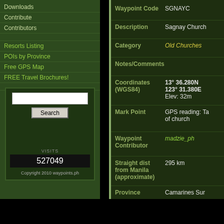Downloads
Contribute
Contributors
Resorts Listing
POIs by Province
Free GPS Map
FREE Travel Brochures!
Search
VISITS
527049
Copyright 2010 waypoints.ph
| Field | Value |
| --- | --- |
| Waypoint Code | SGNAYC |
| Description | Sagnay Church |
| Category | Old Churches |
| Notes/Comments |  |
| Coordinates (WGS84) | 13° 36.280N
123° 31.380E
Elev: 32m |
| Mark Point | GPS reading: Ta of church |
| Waypoint Contributor | madzie_ph |
| Straight dist from Manila (approximate) | 295 km |
| Province | Camarines Sur |
| Provincial Capital | Pili |